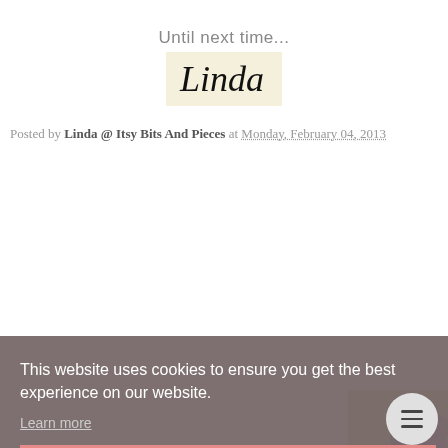Until next time...
[Figure (illustration): A handwritten-style signature reading 'Linda' on a cream/beige background, styled as a stamp or image signature.]
Posted by Linda @ Itsy Bits And Pieces at Monday, February 04, 2013
This website uses cookies to ensure you get the best experience on our website.
Learn more
Got it!